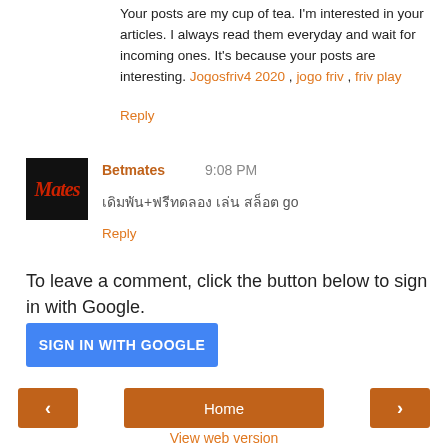Your posts are my cup of tea. I'm interested in your articles. I always read them everyday and wait for incoming ones. It's because your posts are interesting. Jogosfriv4 2020 , jogo friv , friv play
Reply
Betmates  9:08 PM
เดิมพัน+ฟรีทดลอง เล่น สล็อต go
Reply
To leave a comment, click the button below to sign in with Google.
SIGN IN WITH GOOGLE
Home
View web version